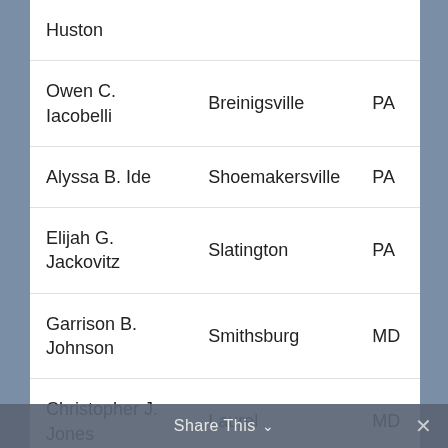| Name | City | State |
| --- | --- | --- |
| [...] Huston |  |  |
| Owen C. Iacobelli | Breinigsville | PA |
| Alyssa B. Ide | Shoemakersville | PA |
| Elijah G. Jackovitz | Slatington | PA |
| Garrison B. Johnson | Smithsburg | MD |
| Christopher J. Jones | Laurel | MD |
Share This